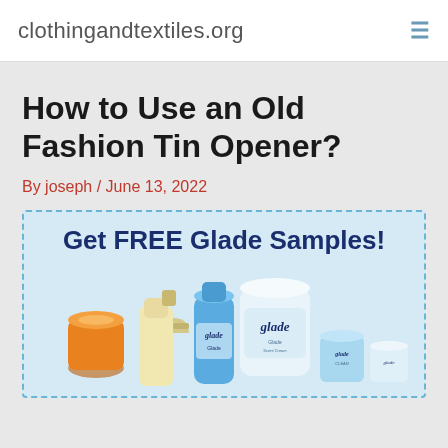clothingandtextiles.org
How to Use an Old Fashion Tin Opener?
By joseph / June 13, 2022
[Figure (infographic): Advertisement banner with dashed blue border on light blue background. Text reads 'Get FREE Glade Samples!' in dark navy bold text. Below is a photo of Glade products including spray bottles, a round tin, and cleaning products.]